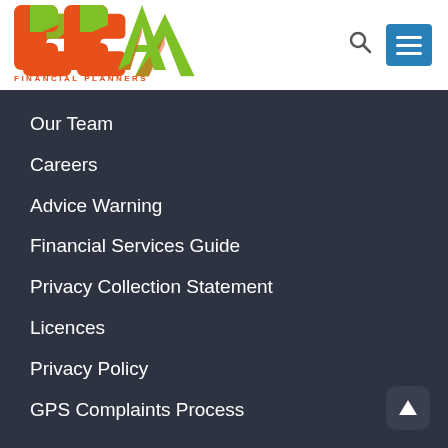[Figure (logo): CCA Financial Planners logo with orange and green letters and text 'FINANCIAL PLANNERS' below]
Our Team
Careers
Advice Warning
Financial Services Guide
Privacy Collection Statement
Licences
Privacy Policy
GPS Complaints Process